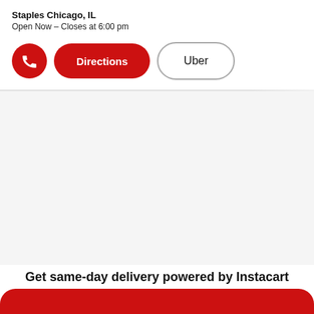Staples Chicago, IL
Open Now – Closes at 6:00 pm
[Figure (other): Phone call button (red circle with phone icon), Directions button (red pill), and Uber button (outlined pill)]
[Figure (other): Map area showing store location (empty/white area)]
Get same-day delivery powered by Instacart
[Figure (other): Red bar at bottom of page (partial button or banner)]